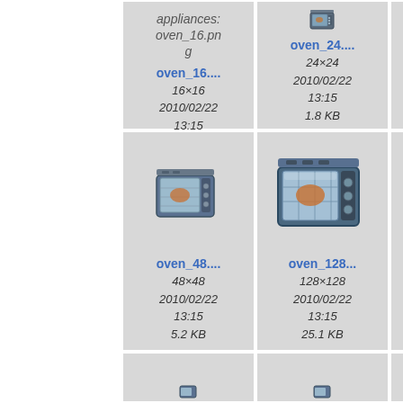[Figure (screenshot): File browser thumbnail gallery showing oven appliance PNG icons in different sizes. Row 1: header cell with italic text 'appliances: oven_16.png', then oven_16 (16x16, 2010/02/22 13:15, 1.1 KB), oven_24 (24x24, 2010/02/22 13:15, 1.8 KB), partial third cell. Row 2: oven_48 (48x48 icon, 2010/02/22 13:15, 5.2 KB), oven_128 (128x128 icon, 2010/02/22 13:15, 25.1 KB), partial third cell. Row 3: three partial cells at bottom.]